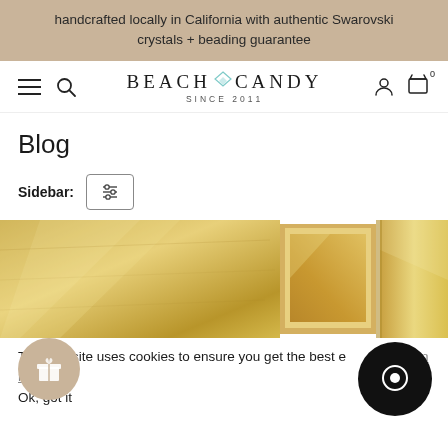handcrafted locally in California with authentic Swarovski crystals + beading guarantee
[Figure (screenshot): BeachCandy website navigation bar with hamburger menu, search icon, BeachCandy Since 2011 logo with teal crystal, account icon, and cart icon with 0 badge]
Blog
Sidebar:
[Figure (photo): Close-up photo of golden/warm-toned decorative wall panels or tiles with textural light and shadow]
This website uses cookies to ensure you get the best experience. Learn more
Ok, got it